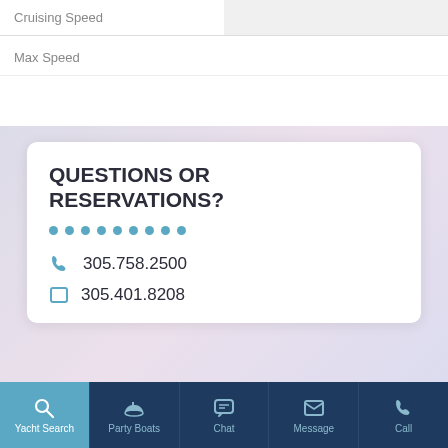| Cruising Speed |  |
| --- | --- |
|  |
Max Speed
QUESTIONS OR RESERVATIONS?
305.758.2500
305.401.8208
Yacht Search  Party Boats  Chat  Message  Call